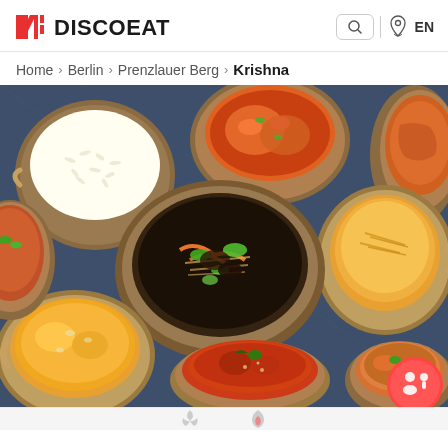DISCOEAT
Home > Berlin > Prenzlauer Berg > Krishna
[Figure (photo): Overhead view of multiple Indian curry dishes in silver/copper bowls on a blue surface, including rice, various curries, stir-fried vegetables, and garnished dishes. A round Discoeat badge logo appears in the bottom-right corner.]